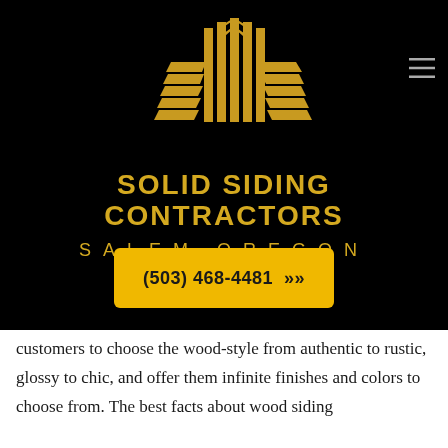[Figure (logo): Gold geometric building/skyline logo for Solid Siding Contractors Salem Oregon]
SOLID SIDING CONTRACTORS
SALEM OREGON
(503) 468-4481 »
customers to choose the wood-style from authentic to rustic, glossy to chic, and offer them infinite finishes and colors to choose from. The best facts about wood siding